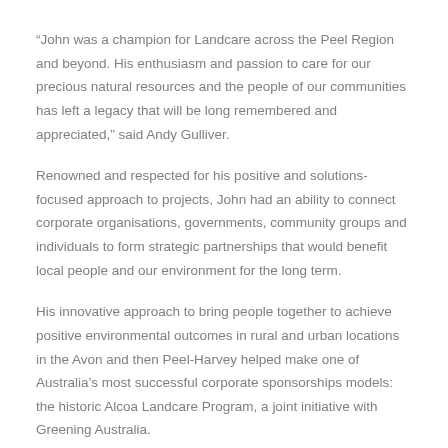“John was a champion for Landcare across the Peel Region and beyond. His enthusiasm and passion to care for our precious natural resources and the people of our communities has left a legacy that will be long remembered and appreciated,” said Andy Gulliver.
Renowned and respected for his positive and solutions-focused approach to projects, John had an ability to connect corporate organisations, governments, community groups and individuals to form strategic partnerships that would benefit local people and our environment for the long term.
His innovative approach to bring people together to achieve positive environmental outcomes in rural and urban locations in the Avon and then Peel-Harvey helped make one of Australia’s most successful corporate sponsorships models: the historic Alcoa Landcare Program, a joint initiative with Greening Australia.